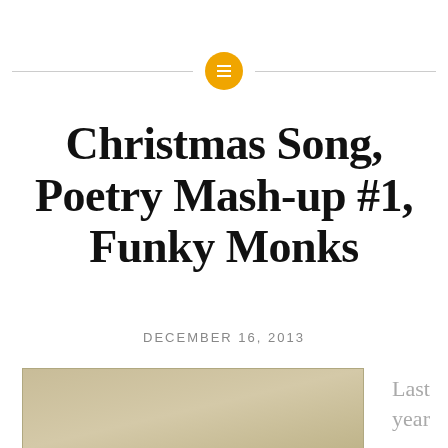[Figure (logo): Orange circle with white horizontal lines icon, flanked by two horizontal gray lines forming a decorative header separator]
Christmas Song, Poetry Mash-up #1, Funky Monks
DECEMBER 16, 2013
[Figure (photo): Rectangular photo with a tan/beige background, appears to be an album cover or artwork with a golden-brown tone]
Last year